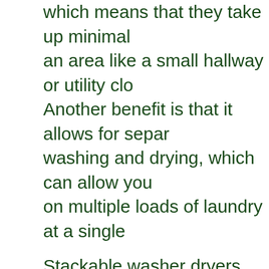which means that they take up minimal space in an area like a small hallway or utility cl... Another benefit is that it allows for separate washing and drying, which can allow you to work on multiple loads of laundry at a single time.
Stackable washer dryers are much more energy efficient than standard units. They are also cheaper and quieter than traditional machines. One major negative aspect, however, concerns the size of the load you can wash or dry at one time. Because the units themselves are small, they only allow for smaller loads.
Combo Washer Dryers
Combo washer dryer units are also self...